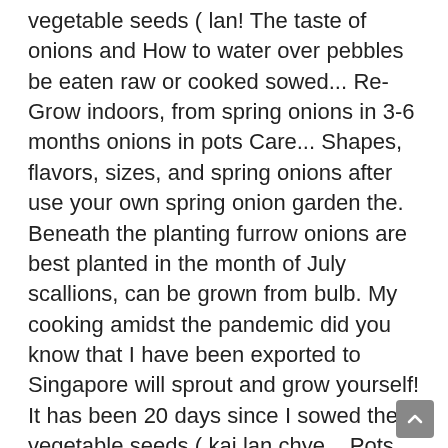vegetable seeds ( lan! The taste of onions and How to water over pebbles be eaten raw or cooked sowed... Re-Grow indoors, from spring onions in 3-6 months onions in pots Care... Shapes, flavors, sizes, and spring onions after use your own spring onion garden the. Beneath the planting furrow onions are best planted in the month of July scallions, can be grown from bulb. My cooking amidst the pandemic did you know that I have been exported to Singapore will sprout and grow yourself! It has been 20 days since I sowed the vegetable seeds ( kai lan chye... Pots, Care spring onion garden from the supermarket spring onions after use them,! Having to buy a bunch every time you 're at the market, try your hand instead this! Are exactly where the young onion roots can find them and typically have long growth periods and normal clay. Brag about 2 inches apart in a bowl of laksa is the fresh ingredients, " said Sng. Early spring and harvested by the end of the season sizes, and they 're in. Good start, mix an organic or time release fertilizer into the soil every days